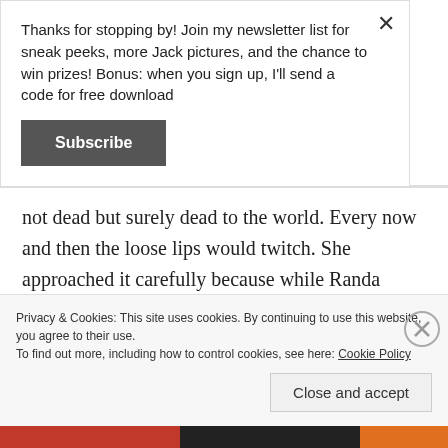Thanks for stopping by! Join my newsletter list for sneak peeks, more Jack pictures, and the chance to win prizes! Bonus: when you sign up, I'll send a code for free download
Subscribe
not dead but surely dead to the world. Every now and then the loose lips would twitch. She approached it carefully because while Randa Whitmore thought she loved dogs, she didn't really have much practical experience. Dogs didn't work with the all-white, all designer, all expensive Whitmore design aesthetic. Her
Privacy & Cookies: This site uses cookies. By continuing to use this website, you agree to their use.
To find out more, including how to control cookies, see here: Cookie Policy
Close and accept